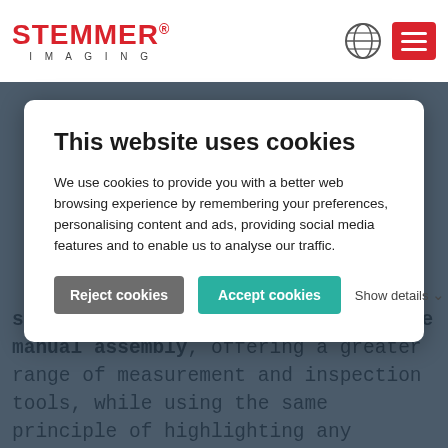[Figure (logo): STEMMER IMAGING logo with globe icon and hamburger menu icon in red]
This website uses cookies
We use cookies to provide you with a better web browsing experience by remembering your preferences, personalising content and ads, providing social media features and to enable us to analyse our traffic.
Reject cookies   Accept cookies   Show details
system to be used to assist with the manual assembly, offering a greater range of measurement and inspection tools, while using the same principle of highlighting any assembly errors on the display monitor. Assembly instructions and manufacturing data could then be downloaded to the system from a central database as